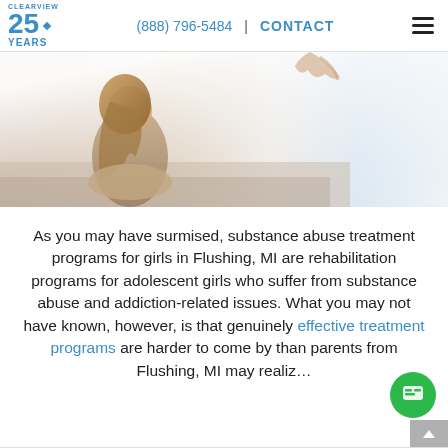CLEARVIEW 25 YEARS | (888) 796-5484 | CONTACT
[Figure (photo): A young girl sitting with knees drawn up, seen from the side, with a blurred background and soft lighting. A hand reaches toward her from above.]
As you may have surmised, substance abuse treatment programs for girls in Flushing, MI are rehabilitation programs for adolescent girls who suffer from substance abuse and addiction-related issues. What you may not have known, however, is that genuinely effective treatment programs are harder to come by than parents from Flushing, MI may realiz…